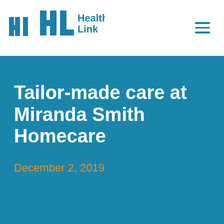HealthLink
Tailor-made care at Miranda Smith Homecare
December 2, 2019